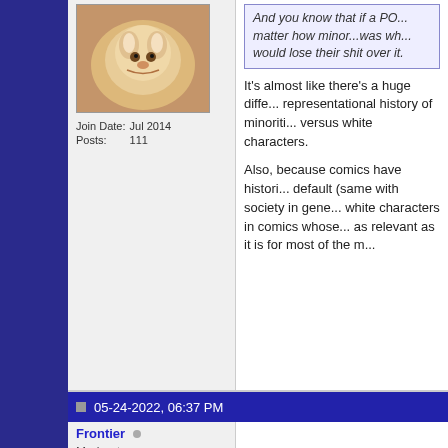[Figure (photo): Cat avatar photo - fluffy orange/cream colored cat]
Join Date: Jul 2014
Posts: 111
And you know that if a PO... matter how minor...was wh... would lose their shit over it.
It's almost like there's a huge diffe... representational history of minoriti... versus white characters.
Also, because comics have histori... default (same with society in gene... white characters in comics whose... as relevant as it is for most of the m...
05-24-2022, 06:37 PM
Frontier
Moderator
[Figure (illustration): Batman avatar - stylized drawing of Batman in blue and black]
I think the problem with the MCU i... more straightforward movies now.
Now there's got to be major stakes... Kaiju Final bosses, or giant set pie... movie.